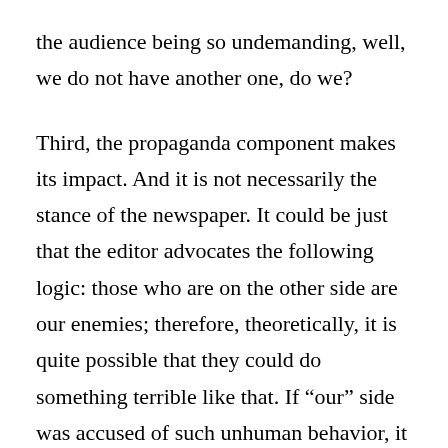the audience being so undemanding, well, we do not have another one, do we?
Third, the propaganda component makes its impact. And it is not necessarily the stance of the newspaper. It could be just that the editor advocates the following logic: those who are on the other side are our enemies; therefore, theoretically, it is quite possible that they could do something terrible like that. If “our” side was accused of such unhuman behavior, it would definitely require analyzing such